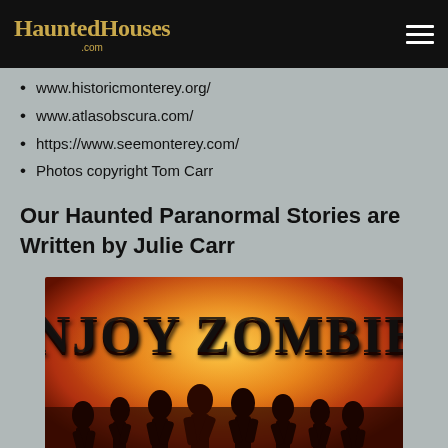HauntedHouses.com
www.historicmonterey.org/
www.atlasobscura.com/
https://www.seemonterey.com/
Photos copyright Tom Carr
Our Haunted Paranormal Stories are Written by Julie Carr
[Figure (photo): Book cover or promotional image for 'Enjoy Zombies' showing silhouettes of zombie figures against an orange/red background with the title text in horror-style lettering]